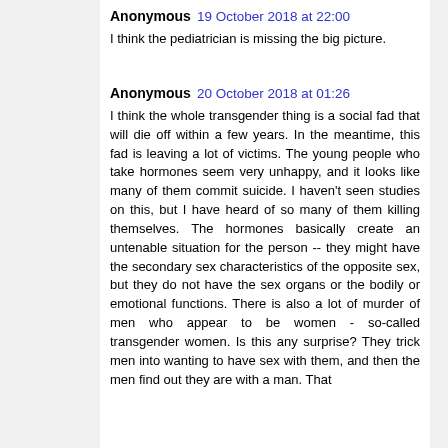Anonymous  19 October 2018 at 22:00
I think the pediatrician is missing the big picture.
Anonymous  20 October 2018 at 01:26
I think the whole transgender thing is a social fad that will die off within a few years. In the meantime, this fad is leaving a lot of victims. The young people who take hormones seem very unhappy, and it looks like many of them commit suicide. I haven't seen studies on this, but I have heard of so many of them killing themselves. The hormones basically create an untenable situation for the person -- they might have the secondary sex characteristics of the opposite sex, but they do not have the sex organs or the bodily or emotional functions. There is also a lot of murder of men who appear to be women - so-called transgender women. Is this any surprise? They trick men into wanting to have sex with them, and then the men find out they are with a man. That